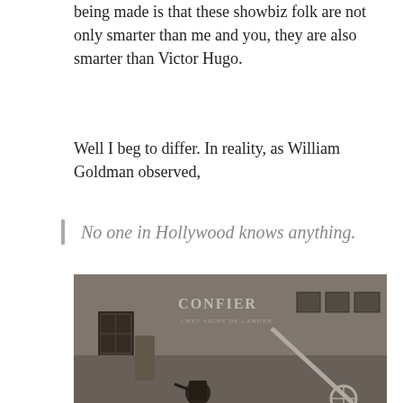being made is that these showbiz folk are not only smarter than me and you, they are also smarter than Victor Hugo.
Well I beg to differ. In reality, as William Goldman observed,
No one in Hollywood knows anything.
[Figure (illustration): A black and white engraving-style illustration showing a street scene with a wall bearing the text 'CONFIER' and other text, with what appears to be a child figure in the foreground and urban/architectural elements in the background.]